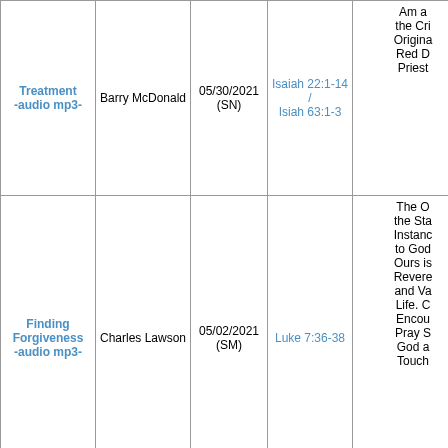| Title | Speaker | Date | Scripture | Description |
| --- | --- | --- | --- | --- |
| Treatment -audio mp3- | Barry McDonald | 05/30/2021 (SN) | Isaiah 22:1-14 / Isiah 63:1-3 | Am a... the Cri... Origina... Red D... Priest... |
| Finding Forgiveness -audio mp3- | Charles Lawson | 05/02/2021 (SM) | Luke 7:36-38 | The O... the Sta... Instanc... to God... Ours is... Revere... and Va... Life. C... Encou... Pray S... God a... Touch... |
| From Balla... |  |  |  | The W... Jacob'... Set a L... on Tru... First E... God M... |